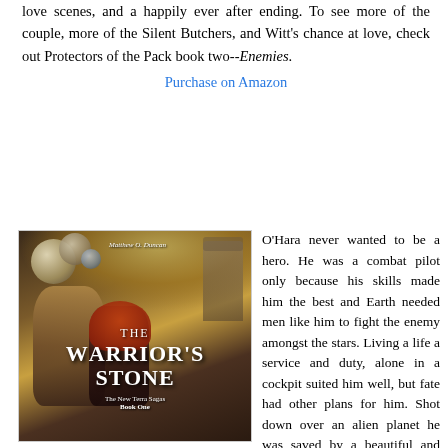love scenes, and a happily ever after ending. To see more of the couple, more of the Silent Butchers, and Witt's chance at love, check out Protectors of the Pack book two--Enemies.
Purchase on Amazon
[Figure (illustration): Book cover for 'The Warrior's Stone' by Matthew O. Duncan. The New Terra Sagas Book One. Shows a male and female figure against a fantasy sci-fi background with planets and a castle tower.]
O'Hara never wanted to be a hero. He was a combat pilot only because his skills made him the best and Earth needed men like him to fight the enemy amongst the stars. Living a life a service and duty, alone in a cockpit suited him well, but fate had other plans for him. Shot down over an alien planet he was saved by a beautiful and mysterious woman named Katreena. He soon